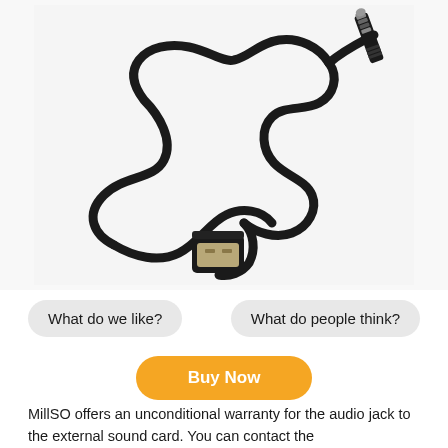[Figure (photo): A black USB to 3.5mm audio jack cable coiled on a white background. The cable has a USB Type-A connector on one end and a 3.5mm TRRS headphone jack on the other end.]
What do we like?
What do people think?
Buy Now
MillSO offers an unconditional warranty for the audio jack to the external sound card. You can contact the